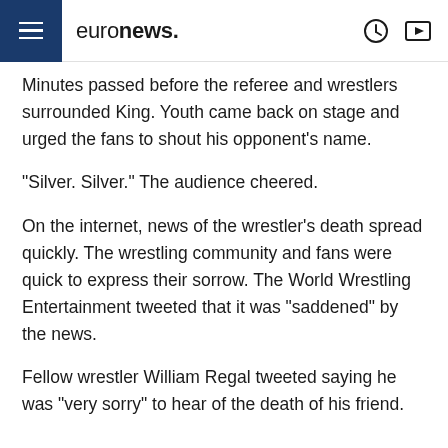euronews.
Minutes passed before the referee and wrestlers surrounded King. Youth came back on stage and urged the fans to shout his opponent's name.
"Silver. Silver." The audience cheered.
On the internet, news of the wrestler's death spread quickly. The wrestling community and fans were quick to express their sorrow. The World Wrestling Entertainment tweeted that it was "saddened" by the news.
Fellow wrestler William Regal tweeted saying he was "very sorry" to hear of the death of his friend.
King had starred alongside comic actor Jack Black in the 2005 film Nacho Libre, and had also starred in the